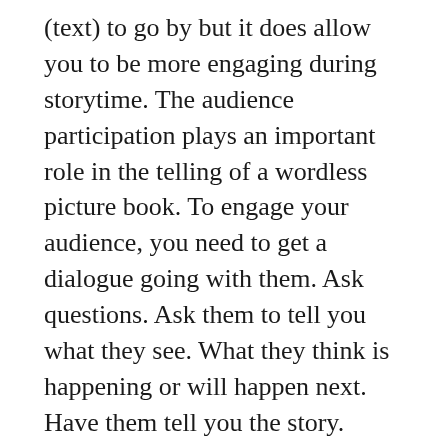(text) to go by but it does allow you to be more engaging during storytime. The audience participation plays an important role in the telling of a wordless picture book. To engage your audience, you need to get a dialogue going with them. Ask questions. Ask them to tell you what they see. What they think is happening or will happen next. Have them tell you the story.
Q: In your author bio on the book jacket, it mentions how picture books played a key role in helping you learn English and understand the new culture as a child. Were wordless books a part of that process? Did you treat picture books as wordless until